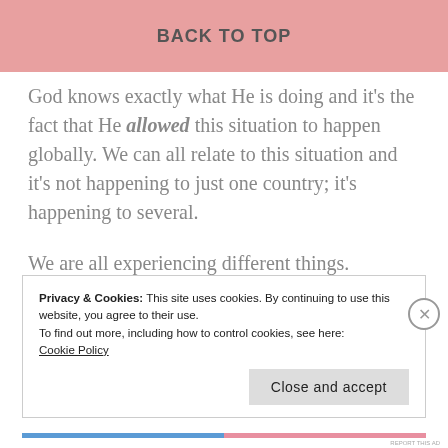BACK TO TOP
God knows exactly what He is doing and it’s the fact that He allowed this situation to happen globally. We can all relate to this situation and it’s not happening to just one country; it’s happening to several.
We are all experiencing different things.
Privacy & Cookies: This site uses cookies. By continuing to use this website, you agree to their use.
To find out more, including how to control cookies, see here: Cookie Policy
Close and accept